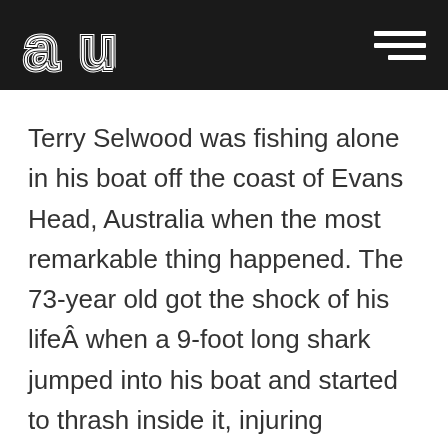au [logo] [hamburger menu]
Terry Selwood was fishing alone in his boat off the coast of Evans Head, Australia when the most remarkable thing happened. The 73-year old got the shock of his lifeÂ when a 9-foot long shark jumped into his boat and started to thrash inside it, injuring Selwood. Selwood was eventually able to reach the side of the boat and get out of the way of the shark and its massive teeth.